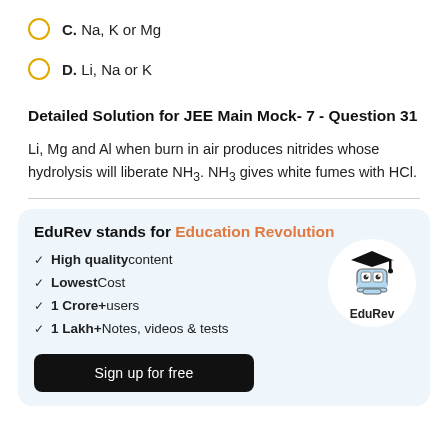C. Na, K or Mg
D. Li, Na or K
Detailed Solution for JEE Main Mock- 7 - Question 31
Li, Mg and Al when burn in air produces nitrides whose hydrolysis will liberate NH3. NH3 gives white fumes with HCl.
[Figure (infographic): EduRev promotional box: 'EduRev stands for Education Revolution' with checkmarks listing High quality content, Lowest Cost, 1 Crore+ users, 1 Lakh+ Notes videos & tests, EduRev mascot logo, and Sign up for free button.]